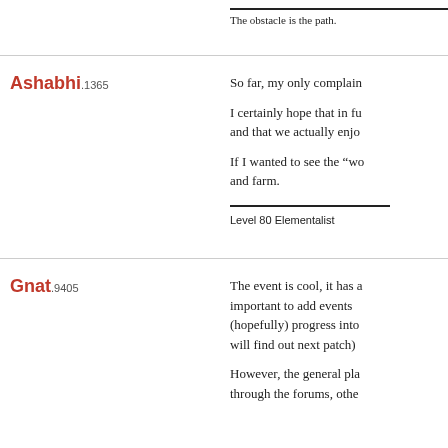The obstacle is the path.
Ashabhi.1365
So far, my only complain...
I certainly hope that in fu... and that we actually enjo...
If I wanted to see the "wo... and farm.
Level 80 Elementalist
Gnat.9405
The event is cool, it has a... important to add events... (hopefully) progress into... will find out next patch)...
However, the general pla... through the forums, othe...